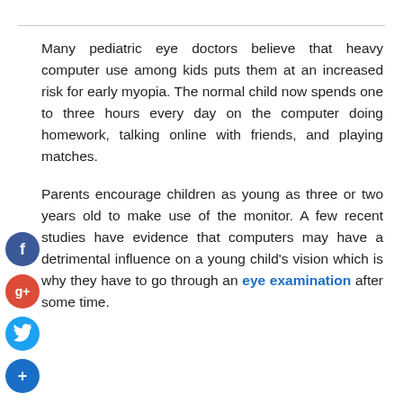Many pediatric eye doctors believe that heavy computer use among kids puts them at an increased risk for early myopia. The normal child now spends one to three hours every day on the computer doing homework, talking online with friends, and playing matches.
Parents encourage children as young as three or two years old to make use of the monitor. A few recent studies have evidence that computers may have a detrimental influence on a young child's vision which is why they have to go through an eye examination after some time.